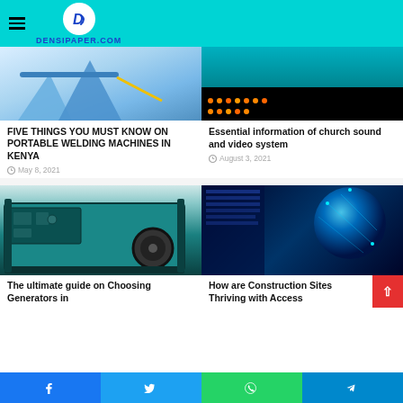DENSIPAPER.COM
[Figure (photo): Blue portable welding machine stands on white background]
FIVE THINGS YOU MUST KNOW ON PORTABLE WELDING MACHINES IN KENYA
May 8, 2021
[Figure (photo): Church audio mixing board with orange indicator lights]
Essential information of church sound and video system
August 3, 2021
[Figure (photo): Portable generator in teal and black color]
The ultimate guide on Choosing Generators in
[Figure (photo): Technology digital network sphere on dark blue background]
How are Construction Sites Thriving with Access